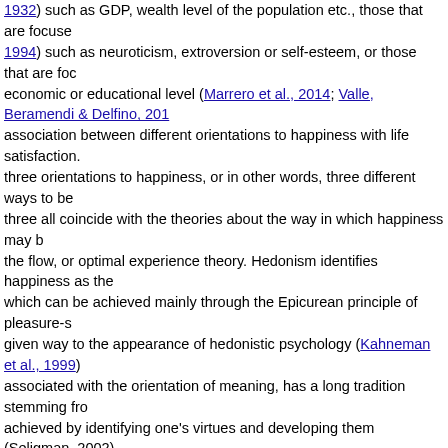1932) such as GDP, wealth level of the population etc., those that are focused on personality traits (Diener, 1994) such as neuroticism, extroversion or self-esteem, or those that are focused on socio-economic or educational level (Marrero et al., 2014; Valle, Beramendi & Delfino, 2011). There is a growing association between different orientations to happiness with life satisfaction. Peterson et al. (2005) identifies three orientations to happiness, or in other words, three different ways to be happy. These three all coincide with the theories about the way in which happiness may be experienced: hedonism, meaning and the flow, or optimal experience theory. Hedonism identifies happiness as the pursuit of pleasure and the avoidance of pain, which can be achieved mainly through the Epicurean principle of pleasure-seeking. These hedonistic ideas have given way to the appearance of hedonistic psychology (Kahneman et al., 1999). The orientation of meaning, associated with the orientation of meaning, has a long tradition stemming from Aristotle's concept of eudaimonia, achieved by identifying one's virtues and developing them (Seligman, 2002), and use them to serve a higher purpose. According to Ryff (1989), it refers to a feeling of purpose that guides the meaning and direction of his or her life. Lastly, the orientation of engagement is based on Csikszentmihalyi's (1990, 1997) theory of optimal experience, according to which when people practice a well-developed activity, achieve a type of peak experience that the author labels as flow. This experience is characterized by a profoundly satisfactory experience and a state of feeling absorbed in the activity, accompanied by a loss of self-consciousness and distorted perception of the passage of time, which people tend to feel when they involve themselves in these activities. To produce this experience it is necessary to maintain a balance between an activity's challenges and the subject's abilities, a high level of concentration, a variety of stimuli, among others.
Other authors focus on the concept of well-being, understood as a system of beliefs about oneself, and may be an important aspect of one's world view (McMahan & Estes, 2011a). Well-being is therefore a complex concept that includes a great variety of beliefs and which can vary between individuals. Elements related to well-being are the experience of happiness, a sense of purpose, vitality, satisfaction with life, pleasure and love (Allport, 1961; Becker, 1992; Rogers, 1961). Despite this complexity of well-being, these authors hold that most of them are rooted in two great philosophical traditions (Ryan & Decy, 2001). In addition, McMahan and Estes (2011a) start from the lay theories...